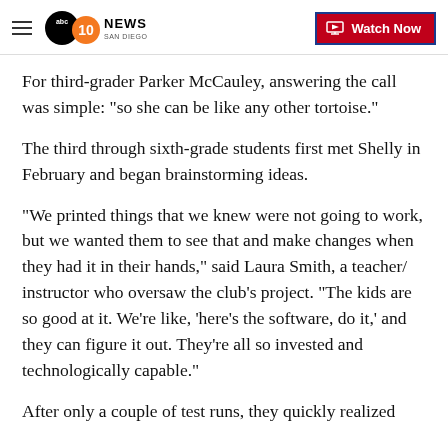10 News San Diego | Watch Now
For third-grader Parker McCauley, answering the call was simple: "so she can be like any other tortoise."
The third through sixth-grade students first met Shelly in February and began brainstorming ideas.
"We printed things that we knew were not going to work, but we wanted them to see that and make changes when they had it in their hands," said Laura Smith, a teacher/ instructor who oversaw the club’s project. “The kids are so good at it. We're like, 'here's the software, do it,' and they can figure it out. They're all so invested and technologically capable."
After only a couple of test runs, they quickly realized